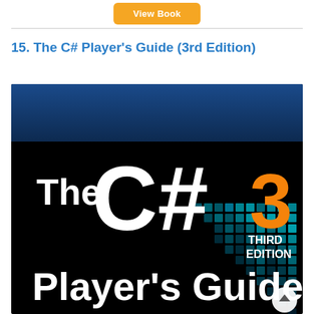View Book
15. The C# Player's Guide (3rd Edition)
[Figure (illustration): Book cover for 'The C# Player's Guide, Third Edition'. Black background with dark blue top band. Large white bold text reads 'The C#' and below 'Player's Guide'. An orange number '3' is on the right side with 'THIRD EDITION' in white text below it. The lower right corner has a decorative teal/blue pixel grid pattern.]